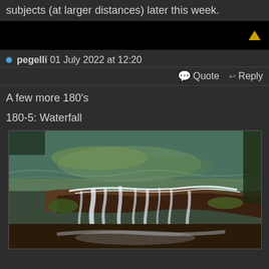subjects (at larger distances) later this week.
pegelli 01 July 2022 at 12:20
Quote  Reply
A few more 180's
180-5: Waterfall
[Figure (photo): A waterfall photograph showing water flowing over mossy rocks into a green pool, aerial/close perspective]